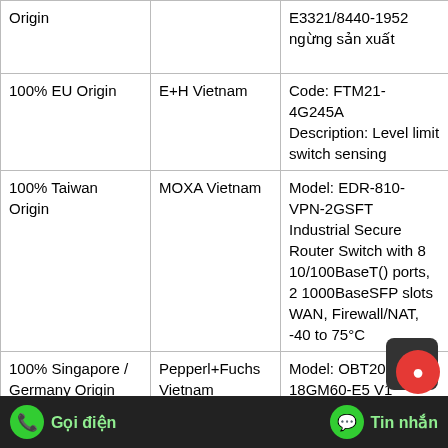| Origin | Vendor | Description |
| --- | --- | --- |
| Origin (partial top) |  | E3321/8440-1952 ngừng sản xuất |
| 100% EU Origin | E+H Vietnam | Code: FTM21-4G245A
Description: Level limit switch sensing |
| 100% Taiwan Origin | MOXA Vietnam | Model: EDR-810-VPN-2GSFT
Industrial Secure Router Switch with 8 10/100BaseT() ports, 2 1000BaseSFP slots WAN, Firewall/NAT, -40 to 75°C |
| 100% Singapore / Germany Origin | Pepperl+Fuchs Vietnam | Model: OBT200-18GM60-E5 V1
Diffuse mode sensor |
| 100% Singapore (partial) | Pepperl+Fuchs (partial) | Model: NV12-04- (partial) |
Gọi điện   Tin nhắn